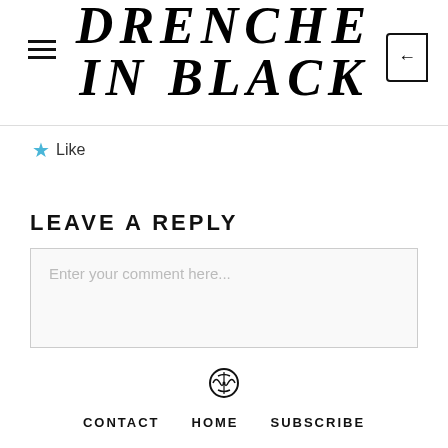DRENCHED IN BLACK
Like
LEAVE A REPLY
Enter your comment here...
[Figure (logo): WordPress logo icon]
CONTACT   HOME   SUBSCRIBE